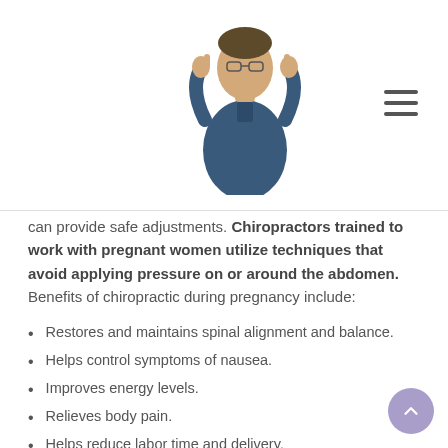[Figure (photo): Doctor in dark blue scrubs giving thumbs up gesture]
can provide safe adjustments. Chiropractors trained to work with pregnant women utilize techniques that avoid applying pressure on or around the abdomen. Benefits of chiropractic during pregnancy include:
Restores and maintains spinal alignment and balance.
Helps control symptoms of nausea.
Improves energy levels.
Relieves body pain.
Helps reduce labor time and delivery.
Restores pelvic positioning and balance, improving standing, sitting, and walking mechanics.
Improves blood perfusion and better